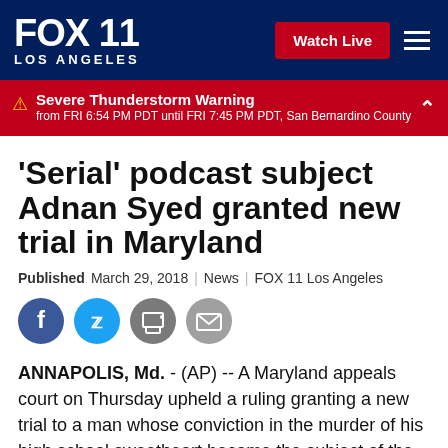FOX 11 LOS ANGELES | Watch Live
⚠ Severe Thunderstorm Warning from FRI 6:54 PM PDT until FRI 7:45 PM PDT, San Bernardino County
'Serial' podcast subject Adnan Syed granted new trial in Maryland
Published March 29, 2018 | News | FOX 11 Los Angeles
[Figure (other): Social sharing icons: Facebook, Twitter, Print, Email]
ANNAPOLIS, Md. - (AP) -- A Maryland appeals court on Thursday upheld a ruling granting a new trial to a man whose conviction in the murder of his high school sweetheart became the subject of the popular podcast